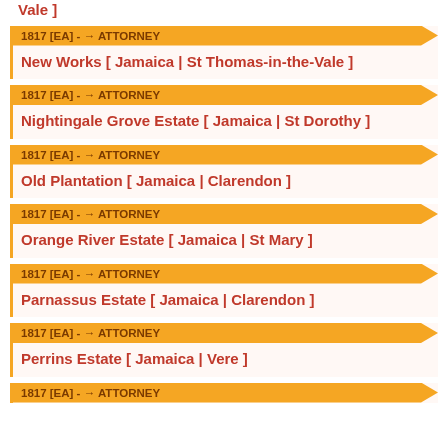Vale ]
1817 [EA] - → ATTORNEY
New Works [ Jamaica | St Thomas-in-the-Vale ]
1817 [EA] - → ATTORNEY
Nightingale Grove Estate [ Jamaica | St Dorothy ]
1817 [EA] - → ATTORNEY
Old Plantation [ Jamaica | Clarendon ]
1817 [EA] - → ATTORNEY
Orange River Estate [ Jamaica | St Mary ]
1817 [EA] - → ATTORNEY
Parnassus Estate [ Jamaica | Clarendon ]
1817 [EA] - → ATTORNEY
Perrins Estate [ Jamaica | Vere ]
1817 [EA] - → ATTORNEY